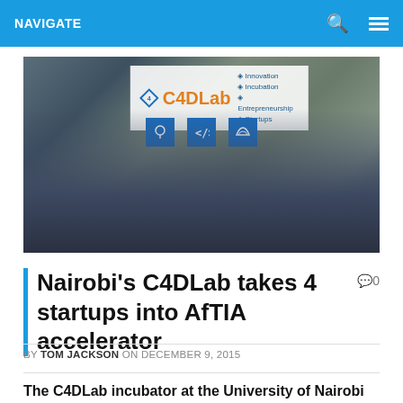NAVIGATE
[Figure (photo): Group photo of approximately 40 people standing in front of a C4DLab banner showing Innovation, Incubation, Entrepreneurship, Startups with a logo and blue icon squares below it.]
Nairobi's C4DLab takes 4 startups into AfTIA accelerator
0 comments
BY TOM JACKSON ON DECEMBER 9, 2015
The C4DLab incubator at the University of Nairobi (UoN) has accepted four Kenyan startups into the first